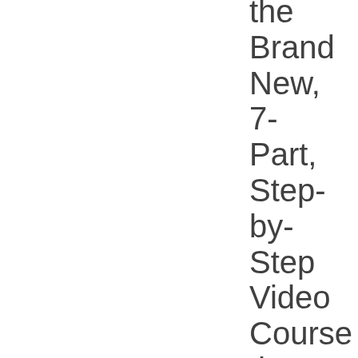the Brand New, 7-Part, Step-by-Step Video Course that Shows You... Finally, Discover Why Your Existing